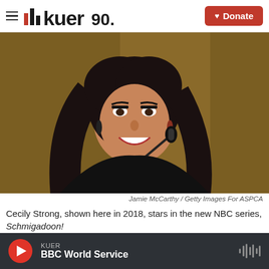KUER 90.1 — Donate
[Figure (photo): Woman with dark hair smiling at a microphone, wearing a black top, at an event. Warm golden background.]
Jamie McCarthy / Getty Images For ASPCA
Cecily Strong, shown here in 2018, stars in the new NBC series, Schmigadoon!
KUER — BBC World Service (audio player bar)